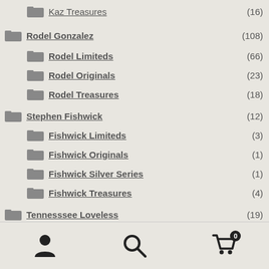Kaz Treasures (16)
Rodel Gonzalez (108)
Rodel Limiteds (66)
Rodel Originals (23)
Rodel Treasures (18)
Stephen Fishwick (12)
Fishwick Limiteds (3)
Fishwick Originals (1)
Fishwick Silver Series (1)
Fishwick Treasures (4)
Tennesssee Loveless (19)